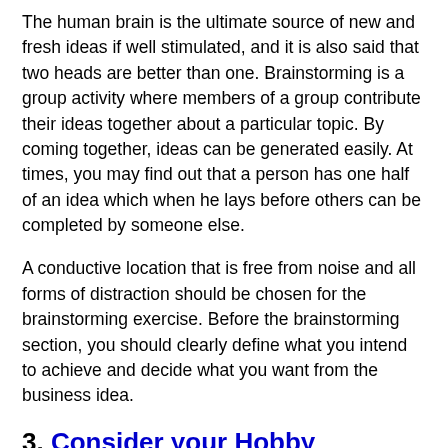The human brain is the ultimate source of new and fresh ideas if well stimulated, and it is also said that two heads are better than one. Brainstorming is a group activity where members of a group contribute their ideas together about a particular topic. By coming together, ideas can be generated easily. At times, you may find out that a person has one half of an idea which when he lays before others can be completed by someone else.
A conductive location that is free from noise and all forms of distraction should be chosen for the brainstorming exercise. Before the brainstorming section, you should clearly define what you intend to achieve and decide what you want from the business idea.
3. Consider your Hobby
Hobbies are activities that a person enjoys doing in their spare time. A hobby however does not have to be just fun, it can be a source of an idea that can be monetized. For example, a lady that enjoys baking cake may find out that she can turn this hobby of hers into a bakery business.